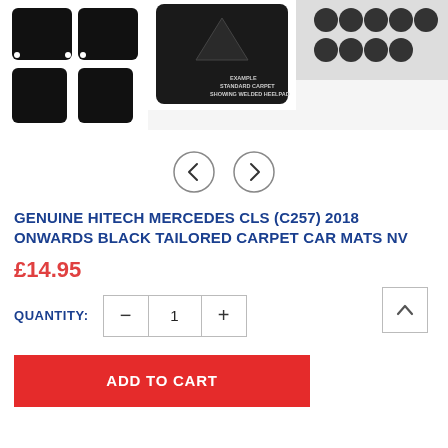[Figure (photo): Three product images showing black tailored car mats for Mercedes CLS (C257). Left image shows a set of 4 black carpet mats laid flat. Middle image shows a closer view of mat with welded heelpad detail. Right image shows rubber mat detail.]
GENUINE HITECH MERCEDES CLS (C257) 2018 ONWARDS BLACK TAILORED CARPET CAR MATS NV
£14.95
QUANTITY: 1
ADD TO CART